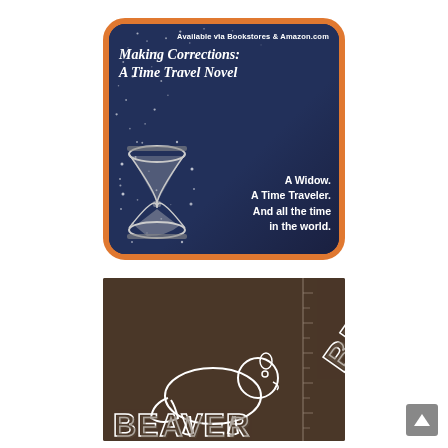[Figure (illustration): Book advertisement for 'Making Corrections: A Time Travel Novel' with dark navy blue background and orange border. Features an hourglass with particle/dust effects and text: 'Available via Bookstores & Amazon.com', book title, and tagline 'A Widow. A Time Traveler. And all the time in the world.']
[Figure (logo): Dark brown background with a beaver silhouette and 'BEAVER' text displayed diagonally in a decorative 3D block letter style. Appears to be a logo or mascot image.]